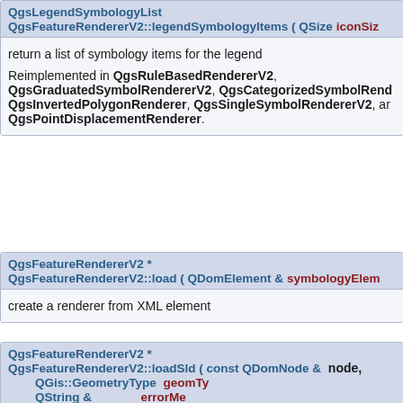QgsLegendSymbologyList
QgsFeatureRendererV2::legendSymbologyItems ( QSize iconSiz
return a list of symbology items for the legend
Reimplemented in QgsRuleBasedRendererV2, QgsGraduatedSymbolRendererV2, QgsCategorizedSymbolRend..., QgsInvertedPolygonRenderer, QgsSingleSymbolRendererV2, and QgsPointDisplacementRenderer.
QgsFeatureRendererV2 *
QgsFeatureRendererV2::load ( QDomElement &  symbologyElem
create a renderer from XML element
QgsFeatureRendererV2 *
QgsFeatureRendererV2::loadSld ( const QDomNode &  node,
  QGis::GeometryType  geomTy
  QString &  errorMe
)